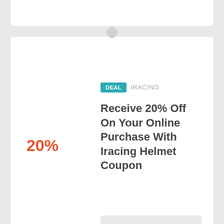[Figure (screenshot): Partial top of a coupon/deal card, white background, cut off at top]
DEAL  IRACING
Receive 20% Off On Your Online Purchase With Iracing Helmet Coupon
20%
Get Deal
CODE  IRACING
Free 2 Months Site-wide
Sales
PR-TW-03
[Figure (other): Scroll-to-top circular button with upward chevron icon]
DEAL  IRACING (partial, bottom of page)